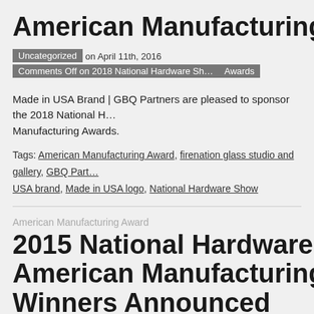American Manufacturing Awa...
Uncategorized  on April 11th, 2016  Comments Off on 2018 National Hardware Sh... Awards
Made in USA Brand | GBQ Partners are pleased to sponsor the 2018 National H... Manufacturing Awards.
Tags: American Manufacturing Award, firenation glass studio and gallery, GBQ Part... USA brand, Made in USA logo, National Hardware Show
American Manufacturing Award
2015 National Hardware Sho... American Manufacturing Awa... Winners Announced
Trend Watch  on May 9th, 2015  Comments Off on 2015 National Hardware Show... Winners Announced